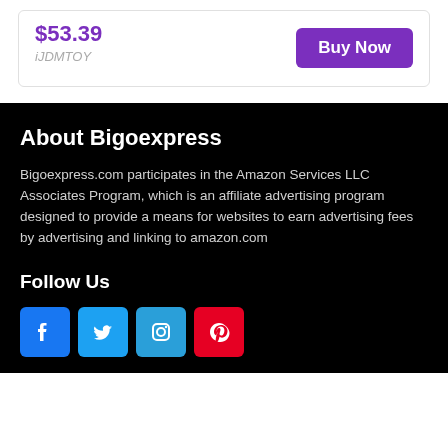$53.39
iJDMTOY
Buy Now
About Bigoexpress
Bigoexpress.com participates in the Amazon Services LLC Associates Program, which is an affiliate advertising program designed to provide a means for websites to earn advertising fees by advertising and linking to amazon.com
Follow Us
[Figure (infographic): Social media icons: Facebook (blue), Twitter (light blue), Instagram (blue), Pinterest (red)]